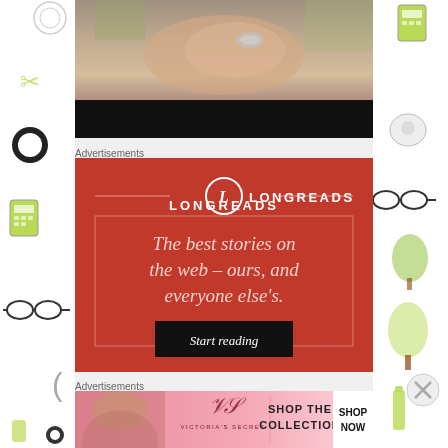[Figure (screenshot): Video thumbnail showing hands with rings, bottom portion black/dark]
Advertisements
[Figure (screenshot): Longreads advertisement on red background with logo, tagline 'The best stories on the web – ours, and everyone else's.' and 'Start reading' button]
Advertisements
[Figure (screenshot): Victoria's Secret banner advertisement: SHOP THE COLLECTION with SHOP NOW button and pink background]